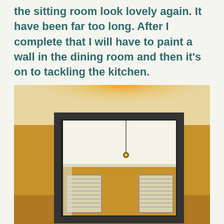the sitting room look lovely again. It have been far too long. After I complete that I will have to paint a wall in the dining room and then it's on to tackling the kitchen.
[Figure (photo): Interior room photo showing a large dark-framed mirror leaning against a freshly painted white wall. The room has warm golden-orange walls, crown molding, windows with shutters visible in the reflection, and a pendant light hanging from the ceiling. A warm light source glows at the top behind the mirror.]